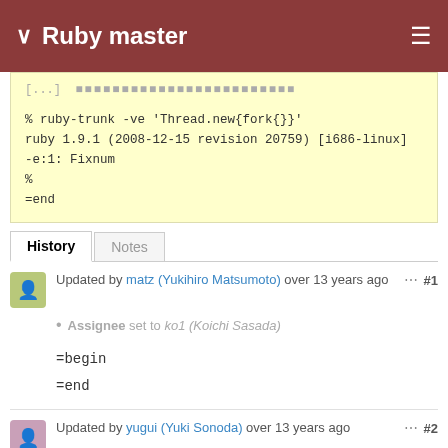Ruby master
% ruby-trunk -ve 'Thread.new{fork{}}'
ruby 1.9.1 (2008-12-15 revision 20759) [i686-linux]
-e:1: Fixnum
%
=end
History | Notes
Updated by matz (Yukihiro Matsumoto) over 13 years ago  ... #1
Assignee set to ko1 (Koichi Sasada)
=begin
=end
Updated by yugui (Yuki Sonoda) over 13 years ago  ... #2
Due date set to 12/31/2008